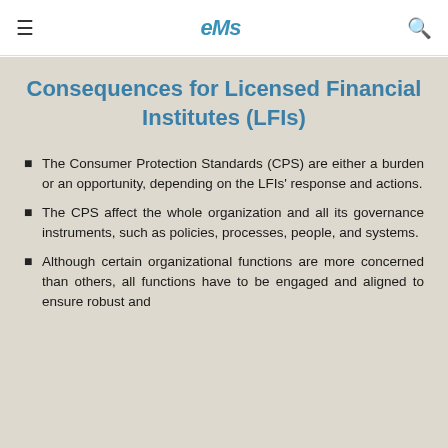≡  eMs  🔍
Consequences for Licensed Financial Institutes (LFIs)
The Consumer Protection Standards (CPS) are either a burden or an opportunity, depending on the LFIs' response and actions.
The CPS affect the whole organization and all its governance instruments, such as policies, processes, people, and systems.
Although certain organizational functions are more concerned than others, all functions have to be engaged and aligned to ensure robust and